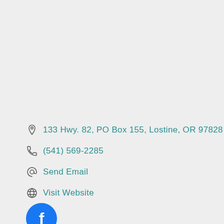133 Hwy. 82, PO Box 155, Lostine, OR 97828
(541) 569-2285
Send Email
Visit Website
[Figure (logo): Facebook social media icon button, blue circle with white letter f]